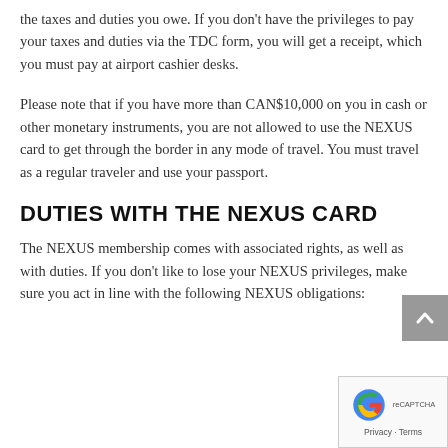the taxes and duties you owe. If you don't have the privileges to pay your taxes and duties via the TDC form, you will get a receipt, which you must pay at airport cashier desks.
Please note that if you have more than CAN$10,000 on you in cash or other monetary instruments, you are not allowed to use the NEXUS card to get through the border in any mode of travel. You must travel as a regular traveler and use your passport.
DUTIES WITH THE NEXUS CARD
The NEXUS membership comes with associated rights, as well as with duties. If you don't like to lose your NEXUS privileges, make sure you act in line with the following NEXUS obligations: